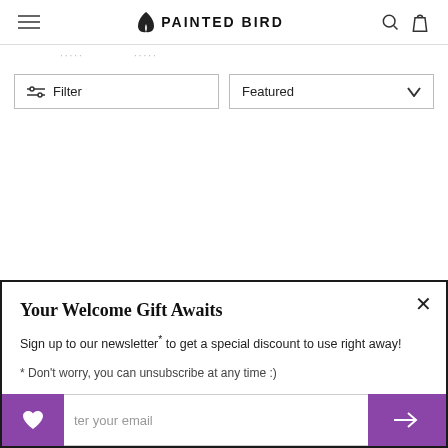PAINTED BIRD
Filter | Featured
Your Welcome Gift Awaits
Sign up to our newsletter* to get a special discount to use right away!
* Don't worry, you can unsubscribe at any time :)
ter your email